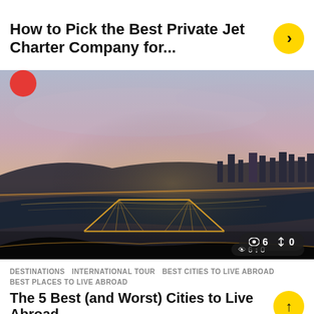How to Pick the Best Private Jet Charter Company for...
[Figure (photo): Aerial twilight/dusk photograph of a city with a wide river and two bridges illuminated with lights, taken from a hilltop viewpoint. The sky shows pink and blue hues. Stats overlay shows eye icon '6' and sort icon '0'.]
DESTINATIONS  INTERNATIONAL TOUR  BEST CITIES TO LIVE ABROAD  BEST PLACES TO LIVE ABROAD
The 5 Best (and Worst) Cities to Live Abroad